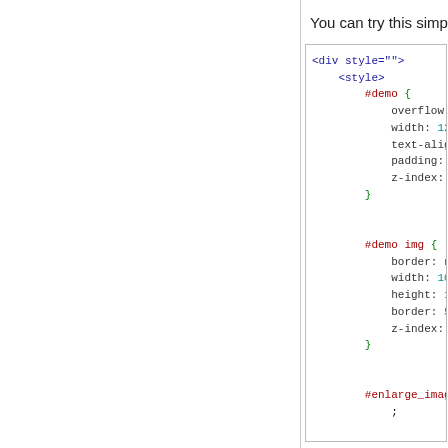You can try this simple code:
[Figure (screenshot): Code snippet showing HTML and CSS with syntax highlighting: a div with style attribute, style tag, #demo CSS rule with overflow, width, text-align, padding, z-index properties, #demo img rule with border, width, height, border, z-index properties, and #enlarge_images rule beginning.]